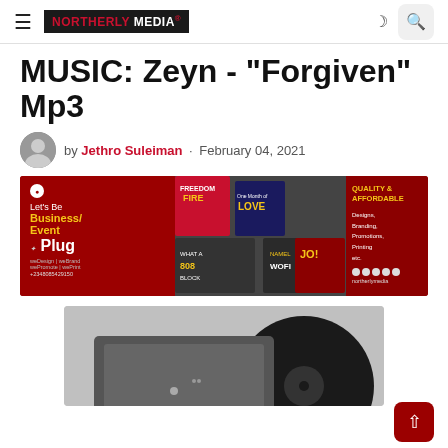NORTHERLY MEDIA
MUSIC: Zeyn - "Forgiven" Mp3
by Jethro Suleiman · February 04, 2021
[Figure (photo): Northerly Media promotional banner ad for design, branding, promotions, and printing services]
[Figure (photo): Article feature image showing a vinyl record player]